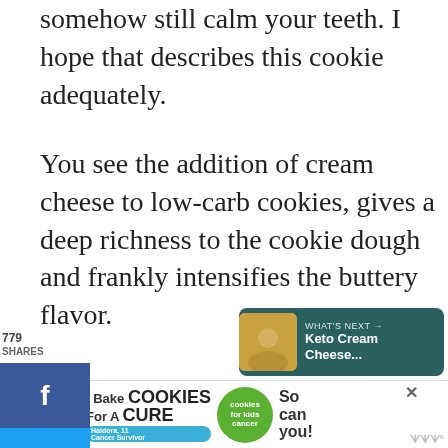somehow still calm your teeth. I hope that describes this cookie adequately.
You see the addition of cream cheese to low-carb cookies, gives a deep richness to the cookie dough and frankly intensifies the buttery flavor.
[Figure (infographic): Social share sidebar with Facebook, Twitter, Pinterest buttons showing 779 shares count]
[Figure (infographic): Heart save button and 78.2K share count pill with share icon]
[Figure (infographic): What's Next bar showing Keto Cream Cheese... with food thumbnail]
[Figure (infographic): Advertisement banner: I Bake COOKIES For A CURE with cookies for kids cancer badge]